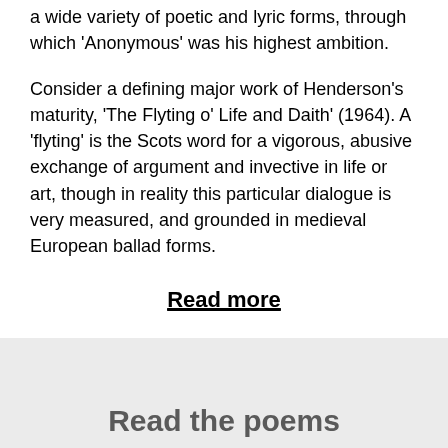a wide variety of poetic and lyric forms, through which 'Anonymous' was his highest ambition.
Consider a defining major work of Henderson's maturity, 'The Flyting o' Life and Daith' (1964). A 'flyting' is the Scots word for a vigorous, abusive exchange of argument and invective in life or art, though in reality this particular dialogue is very measured, and grounded in medieval European ballad forms.
Read more
Read the poems